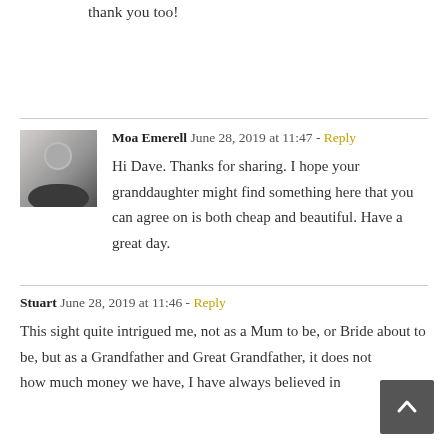thank you too!
Moa Emerell  June 28, 2019 at 11:47 - Reply

Hi Dave. Thanks for sharing. I hope your granddaughter might find something here that you can agree on is both cheap and beautiful. Have a great day.
Stuart  June 28, 2019 at 11:46 - Reply

This sight quite intrigued me, not as a Mum to be, or Bride about to be, but as a Grandfather and Great Grandfather, it does not matter how much money we have, I have always believed in